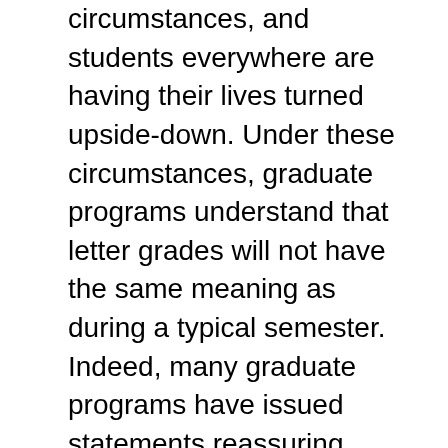circumstances, and students everywhere are having their lives turned upside-down. Under these circumstances, graduate programs understand that letter grades will not have the same meaning as during a typical semester. Indeed, many graduate programs have issued statements reassuring undergraduates that they will not be penalized for taking classes P/NP this semester. The statement by the Provost and Deans of UCB affirms this principle:
“UC Berkeley evaluates applicants for admission to its graduate and professional schools holistically,